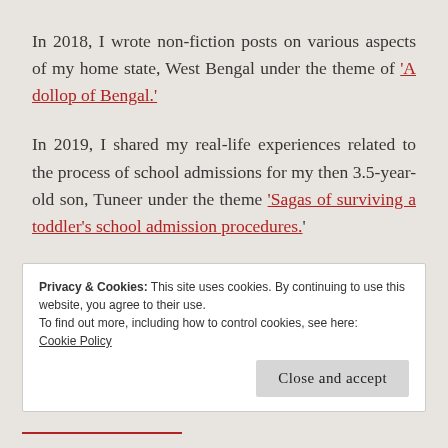In 2018, I wrote non-fiction posts on various aspects of my home state, West Bengal under the theme of 'A dollop of Bengal.'
In 2019, I shared my real-life experiences related to the process of school admissions for my then 3.5-year-old son, Tuneer under the theme 'Sagas of surviving a toddler's school admission procedures.'
Privacy & Cookies: This site uses cookies. By continuing to use this website, you agree to their use.
To find out more, including how to control cookies, see here: Cookie Policy